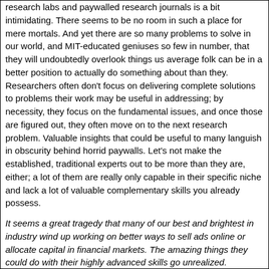research labs and paywalled research journals is a bit intimidating. There seems to be no room in such a place for mere mortals. And yet there are so many problems to solve in our world, and MIT-educated geniuses so few in number, that they will undoubtedly overlook things us average folk can be in a better position to actually do something about than they. Researchers often don't focus on delivering complete solutions to problems their work may be useful in addressing; by necessity, they focus on the fundamental issues, and once those are figured out, they often move on to the next research problem. Valuable insights that could be useful to many languish in obscurity behind horrid paywalls. Let's not make the established, traditional experts out to be more than they are, either; a lot of them are really only capable in their specific niche and lack a lot of valuable complementary skills you already possess.
It seems a great tragedy that many of our best and brightest in industry wind up working on better ways to sell ads online or allocate capital in financial markets. The amazing things they could do with their highly advanced skills go unrealized. Because of this, I think the wider group of intellectually curious amateurs have an opportunity to truly capitalize on the advances made in the sciences. [italics added by H]
[This next segment is simply beautiful ... This Warren character is a true math preacher!  Great stuff!]   :'( [tears of enlightenment]
Advocation Of Autodidacticism In Math, Science And